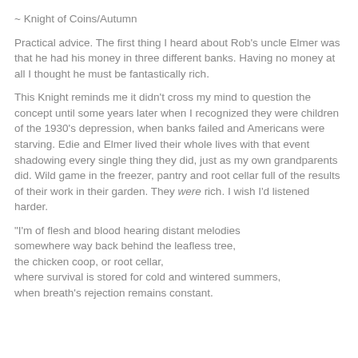~ Knight of Coins/Autumn
Practical advice. The first thing I heard about Rob's uncle Elmer was that he had his money in three different banks. Having no money at all I thought he must be fantastically rich.
This Knight reminds me it didn't cross my mind to question the concept until some years later when I recognized they were children of the 1930's depression, when banks failed and Americans were starving. Edie and Elmer lived their whole lives with that event shadowing every single thing they did, just as my own grandparents did. Wild game in the freezer, pantry and root cellar full of the results of their work in their garden. They were rich. I wish I'd listened harder.
"I'm of flesh and blood hearing distant melodies
somewhere way back behind the leafless tree,
the chicken coop, or root cellar,
where survival is stored for cold and wintered summers,
when breath's rejection remains constant.